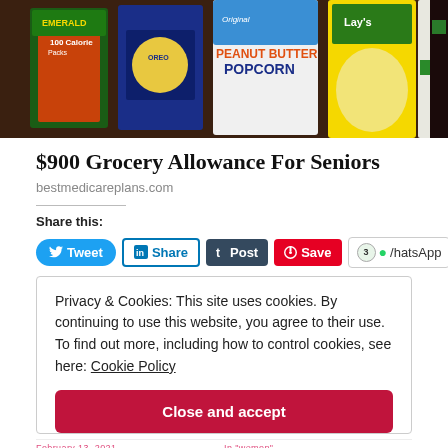[Figure (photo): Photo of grocery snack packages including Emerald 100 Calorie Packs, a blue box of cookies, Angie's Peanut Butter Popcorn, a yellow bag of Lay's chips, and other snack packages on a wooden surface]
$900 Grocery Allowance For Seniors
bestmedicareplans.com
Share this:
Privacy & Cookies: This site uses cookies. By continuing to use this website, you agree to their use.
To find out more, including how to control cookies, see here: Cookie Policy
Close and accept
February 13, 2021
In "women"